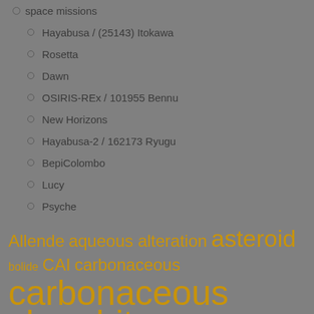space missions
Hayabusa / (25143) Itokawa
Rosetta
Dawn
OSIRIS-REx / 101955 Bennu
New Horizons
Hayabusa-2 / 162173 Ryugu
BepiColombo
Lucy
Psyche
MMX
crater
2015 TC25
[Figure (infographic): Tag cloud with terms: Allende, aqueous alteration, asteroid (large), bolide, CAI, carbonaceous (medium), carbonaceous (very large, cut off at bottom)]